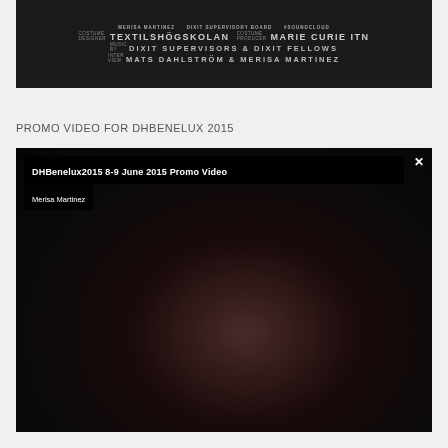[Figure (screenshot): Dark video credits screen showing text: MERISA MARTINEZ · DIXIT SUPERVISORY BOARD · #SOUNDCLOUD / TEXTILHÖGSKOLAN (COSTUME DESIGNER) · MARIE CURIE ITN (COSTUME PRODUCER) / DIXIT SUPERVISORS & DIXIT FELLOWS / MATS DAHLSTRÖM & MERISA MARTINEZ]
PROMO VIDEO FOR DHBENELUX 2015
[Figure (screenshot): Embedded video player screenshot showing DHBenelux2015 8-9 June 2015 Promo Video by Merisa Martinez. Dark video frame with blurred figures visible.]